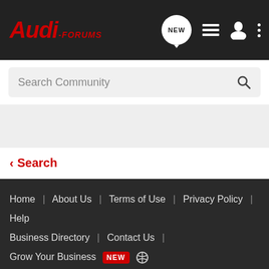Audi-FORUMS
Search Community
< Search
Home | About Us | Terms of Use | Privacy Policy | Help | Business Directory | Contact Us | | Grow Your Business NEW
VerticalScope Inc., 111 Peter Street, Suite 600, Toronto, Ontario, M5V 2H1, Canada
The Fora platform includes forum software by XenForo
audi-forums.com is an independent Audi enthusiast website owned and operated by VerticalScope Inc. Content on audi-forums.com is generated by its users. audi-forums.com is not in